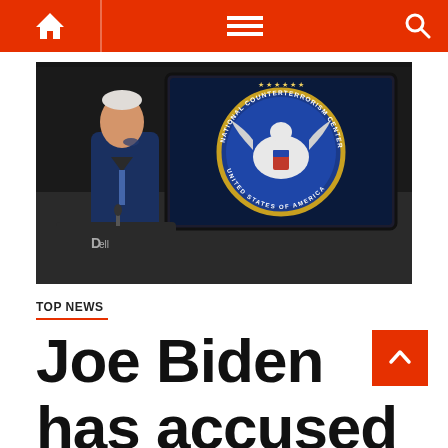Navigation bar with home, menu, and search icons
[Figure (photo): Joe Biden standing at a podium in front of a large screen displaying the National Counterterrorism Center seal (United States of America). A Dell monitor/podium is visible at the bottom left.]
TOP NEWS
Joe Biden has accused Russia